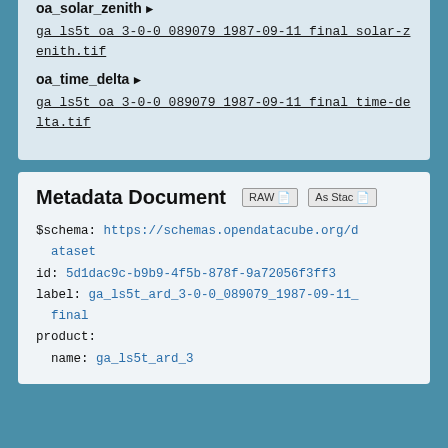oa_solar_zenith ▶
ga_ls5t_oa_3-0-0_089079_1987-09-11_final_solar-zenith.tif
oa_time_delta ▶
ga_ls5t_oa_3-0-0_089079_1987-09-11_final_time-delta.tif
Metadata Document
$schema: https://schemas.opendatacube.org/dataset
id: 5d1dac9c-b9b9-4f5b-878f-9a72056f3ff3
label: ga_ls5t_ard_3-0-0_089079_1987-09-11_final
product:
  name: ga_ls5t_ard_3